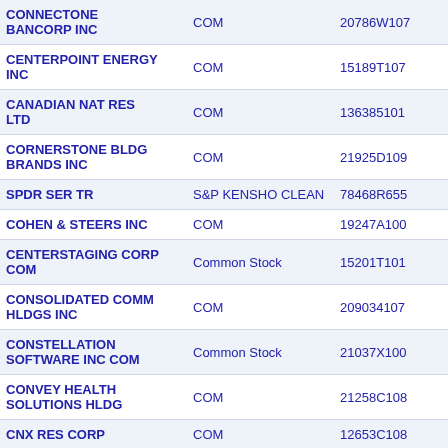| Name | Title | CUSIP | Value |
| --- | --- | --- | --- |
| CONNECTONE BANCORP INC | COM | 20786W107 | 1 |
| CENTERPOINT ENERGY INC | COM | 15189T107 | 6,19 |
| CANADIAN NAT RES LTD | COM | 136385101 | 2 |
| CORNERSTONE BLDG BRANDS INC | COM | 21925D109 | 5 |
| SPDR SER TR | S&P KENSHO CLEAN | 78468R655 | 1 |
| COHEN & STEERS INC | COM | 19247A100 | 21 |
| CENTERSTAGING CORP COM | Common Stock | 15201T101 |  |
| CONSOLIDATED COMM HLDGS INC | COM | 209034107 | 4 |
| CONSTELLATION SOFTWARE INC COM | Common Stock | 21037X100 | 47 |
| CONVEY HEALTH SOLUTIONS HLDG | COM | 21258C108 | 1 |
| CNX RES CORP | COM | 12653C108 | 18 |